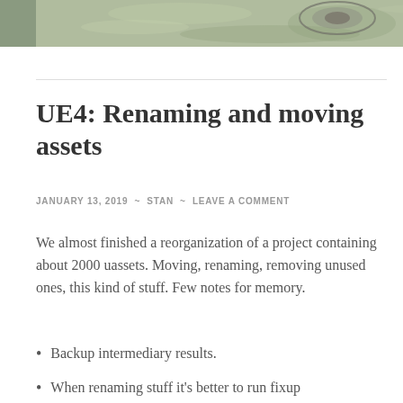[Figure (photo): Aerial or ground-level photograph showing a circular feature (possibly a manhole or crater) in a grassy or terrain field, partially cropped at top of page.]
UE4: Renaming and moving assets
JANUARY 13, 2019  ~  STAN  ~  LEAVE A COMMENT
We almost finished a reorganization of a project containing about 2000 uassets. Moving, renaming, removing unused ones, this kind of stuff. Few notes for memory.
Backup intermediary results.
When renaming stuff it's better to run fixup